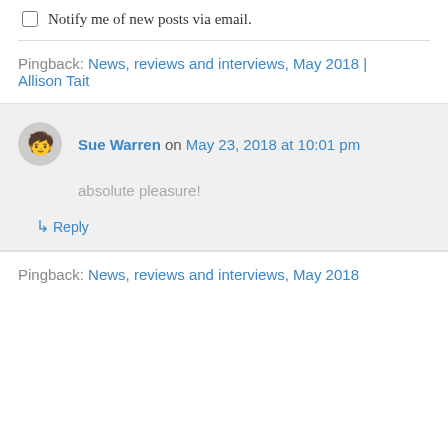Notify me of new posts via email.
Pingback: News, reviews and interviews, May 2018 | Allison Tait
Sue Warren on May 23, 2018 at 10:01 pm
absolute pleasure!
Reply
Pingback: News, reviews and interviews, May 2018